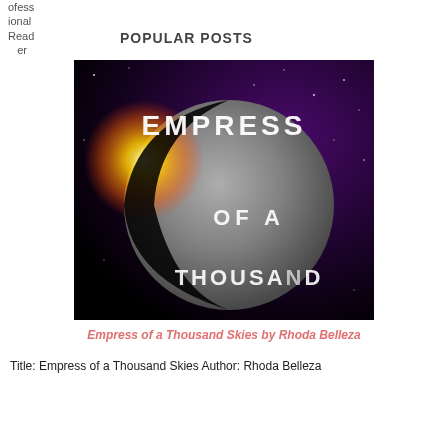ofessional Reader
POPULAR POSTS
[Figure (photo): Book cover of 'Empress of a Thousand Skies' showing a moon with a solar eclipse effect against a purple starry background, with title text in white letters]
Empress of a Thousand Skies by Rhoda Belleza
Title: Empress of a Thousand Skies Author: Rhoda Belleza